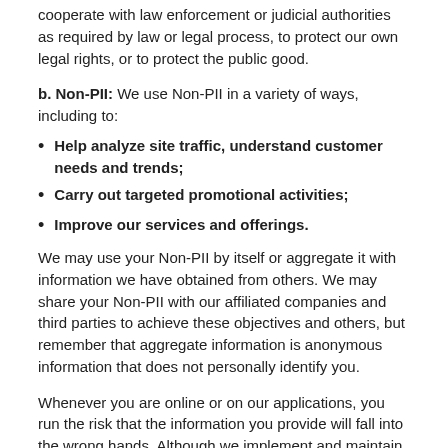cooperate with law enforcement or judicial authorities as required by law or legal process, to protect our own legal rights, or to protect the public good.
b. Non-PII: We use Non-PII in a variety of ways, including to:
Help analyze site traffic, understand customer needs and trends;
Carry out targeted promotional activities;
Improve our services and offerings.
We may use your Non-PII by itself or aggregate it with information we have obtained from others. We may share your Non-PII with our affiliated companies and third parties to achieve these objectives and others, but remember that aggregate information is anonymous information that does not personally identify you.
Whenever you are online or on our applications, you run the risk that the information you provide will fall into the wrong hands. Although we implement and maintain commercially reasonable security procedures and practices to safeguard your privacy, we cannot guarantee the security of any information you provide to us.